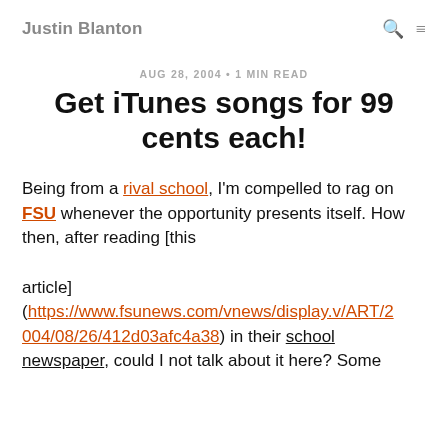Justin Blanton
AUG 28, 2004 • 1 MIN READ
Get iTunes songs for 99 cents each!
Being from a rival school, I'm compelled to rag on FSU whenever the opportunity presents itself. How then, after reading [this article] (https://www.fsunews.com/vnews/display.v/ART/2004/08/26/412d03afc4a38) in their school newspaper, could I not talk about it here? Some